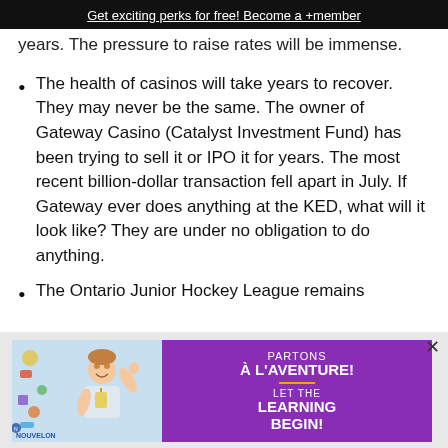Get exciting perks for free! Become a +member
years. The pressure to raise rates will be immense.
The health of casinos will take years to recover. They may never be the same. The owner of Gateway Casino (Catalyst Investment Fund) has been trying to sell it or IPO it for years. The most recent billion-dollar transaction fell apart in July. If Gateway ever does anything at the KED, what will it look like? They are under no obligation to do anything.
The Ontario Junior Hockey League remains
[Figure (illustration): Advertisement for Nouvelon featuring a child waving, with purple panel text: PARTONS À L'AVENTURE! LET THE LEARNING BEGIN!]